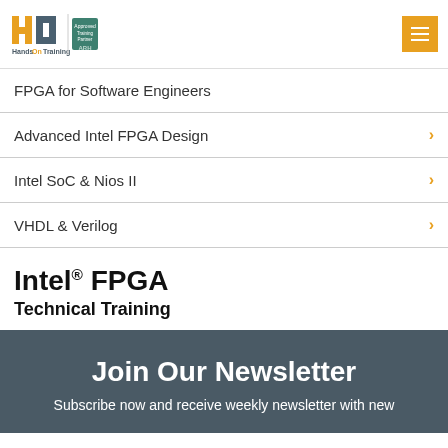[Figure (logo): HandsOn Training logo with Approved Training Partner AAH badge, and orange hamburger menu button]
FPGA for Software Engineers
Advanced Intel FPGA Design
Intel SoC & Nios II
VHDL & Verilog
Intel® FPGA Technical Training
Join Our Newsletter
Subscribe now and receive weekly newsletter with new